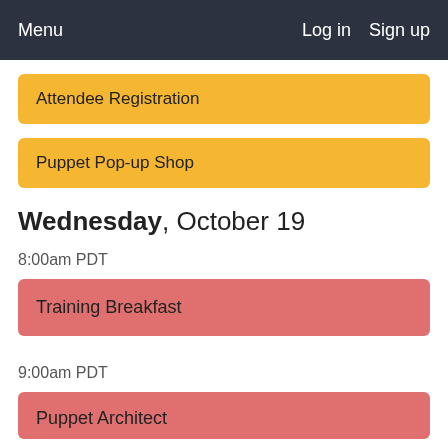Menu   Log in   Sign up
Attendee Registration
Puppet Pop-up Shop
Wednesday, October 19
8:00am PDT
Training Breakfast
9:00am PDT
Puppet Architect